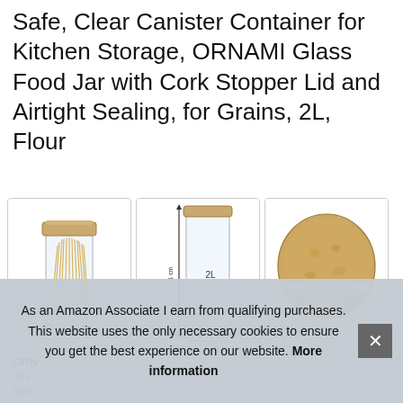Safe, Clear Canister Container for Kitchen Storage, ORNAMI Glass Food Jar with Cork Stopper Lid and Airtight Sealing, for Grains, 2L, Flour
[Figure (photo): Three product images: first shows a tall glass jar with bamboo lid containing spaghetti noodles; second shows an empty tall glass jar with bamboo lid with dimension markings (31cm height, 2L volume, 8.5cm width); third shows a close-up of a cork/bamboo stopper lid on a glass jar.]
ORNAMI
des
food
As an Amazon Associate I earn from qualifying purchases. This website uses the only necessary cookies to ensure you get the best experience on our website. More information